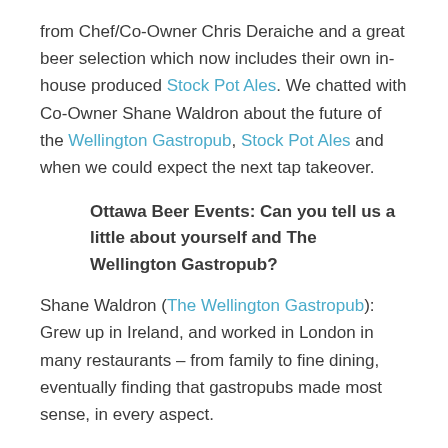from Chef/Co-Owner Chris Deraiche and a great beer selection which now includes their own in-house produced Stock Pot Ales. We chatted with Co-Owner Shane Waldron about the future of the Wellington Gastropub, Stock Pot Ales and when we could expect the next tap takeover.
Ottawa Beer Events: Can you tell us a little about yourself and The Wellington Gastropub?
Shane Waldron (The Wellington Gastropub): Grew up in Ireland, and worked in London in many restaurants – from family to fine dining, eventually finding that gastropubs made most sense, in every aspect.
What makes the Gastropub different from other restaurants/pubs?